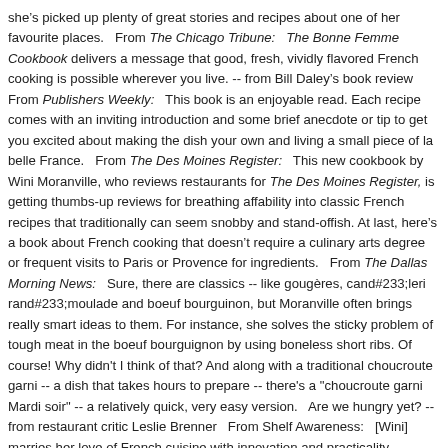she’s picked up plenty of great stories and recipes about one of her favourite places.  From The Chicago Tribune:  The Bonne Femme Cookbook delivers a message that good, fresh, vividly flavored French cooking is possible wherever you live. -- from Bill Daley’s book review  From Publishers Weekly:  This book is an enjoyable read. Each recipe comes with an inviting introduction and some brief anecdote or tip to get you excited about making the dish your own and living a small piece of la belle France.  From The Des Moines Register:  This new cookbook by Wini Moranville, who reviews restaurants for The Des Moines Register, is getting thumbs-up reviews for breathing affability into classic French recipes that traditionally can seem snobby and stand-offish. At last, here’s a book about French cooking that doesn’t require a culinary arts degree or frequent visits to Paris or Provence for ingredients.  From The Dallas Morning News:  Sure, there are classics -- like gougères, cand#233;leri rand#233;moulade and boeuf bourguinon, but Moranville often brings really smart ideas to them. For instance, she solves the sticky problem of tough meat in the boeuf bourguignon by using boneless short ribs. Of course! Why didn't I think of that? And along with a traditional choucroute garni -- a dish that takes hours to prepare -- there's a "choucroute garni Mardi soir" -- a relatively quick, very easy version.  Are we hungry yet? -- from restaurant critic Leslie Brenner  From Shelf Awareness:  [Wini] marries her love of French cuisine with innovation and practicality, appealing to busy home cooks and would-be foodies who can’t spend all day at the stove. While not all the recipes are quick or light,